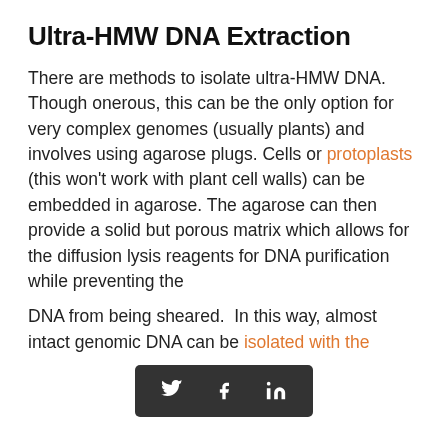Ultra-HMW DNA Extraction
There are methods to isolate ultra-HMW DNA. Though onerous, this can be the only option for very complex genomes (usually plants) and involves using agarose plugs. Cells or protoplasts (this won't work with plant cell walls) can be embedded in agarose. The agarose can then provide a solid but porous matrix which allows for the diffusion lysis reagents for DNA purification while preventing the
DNA from being sheared.  In this way, almost intact genomic DNA can be isolated with the
[Figure (other): Social media sharing bar with Twitter, Facebook, and LinkedIn icons on dark background]